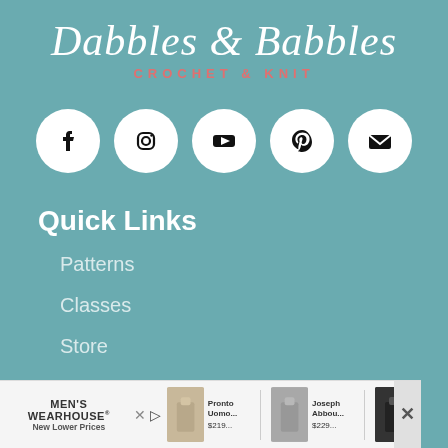[Figure (logo): Dabbles & Babbles Crochet & Knit logo with script white text and pink subtitle on teal background]
[Figure (infographic): Five social media icon circles: Facebook, Instagram, YouTube, Pinterest, Email/Mail]
Quick Links
Patterns
Classes
Store
[Figure (screenshot): Men's Wearhouse advertisement banner showing suits with prices $219 and $229]